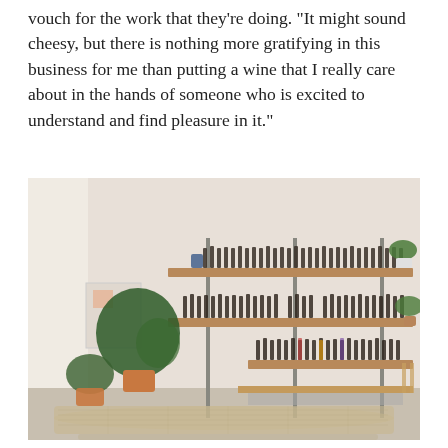vouch for the work that they're doing. "It might sound cheesy, but there is nothing more gratifying in this business for me than putting a wine that I really care about in the hands of someone who is excited to understand and find pleasure in it."
[Figure (photo): Interior photo of a wine shop or bar showing wooden shelves mounted on a light-colored wall, filled with many wine bottles. Two potted plants sit on the floor to the left, a small plant sits on the top shelf on the right, and a woven rug lies on the concrete floor in the foreground.]